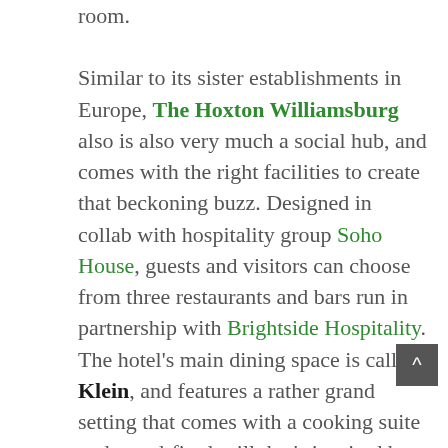room. Similar to its sister establishments in Europe, The Hoxton Williamsburg also is also very much a social hub, and comes with the right facilities to create that beckoning buzz. Designed in collab with hospitality group Soho House, guests and visitors can choose from three restaurants and bars run in partnership with Brightside Hospitality. The hotel's main dining space is called Klein, and features a rather grand setting that comes with a cooking suite and wood-fired grill that's inspired by a brick carriage house that once occupied the location, in addition to a wrap-around bar with stools. An all-day restaurant, its menu lists Americana classics, homemade pastries, killer cocktails and other beverages. Backyard, an